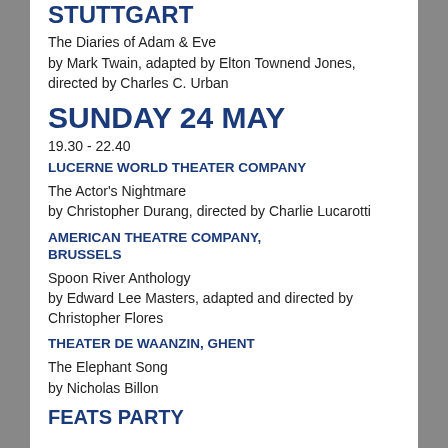STUTTGART
The Diaries of Adam & Eve
by Mark Twain, adapted by Elton Townend Jones, directed by Charles C. Urban
SUNDAY 24 MAY
19.30 - 22.40
LUCERNE WORLD THEATER COMPANY
The Actor's Nightmare
by Christopher Durang, directed by Charlie Lucarotti
AMERICAN THEATRE COMPANY, BRUSSELS
Spoon River Anthology
by Edward Lee Masters, adapted and directed by Christopher Flores
THEATER DE WAANZIN, GHENT
The Elephant Song
by Nicholas Billon
FEATS PARTY